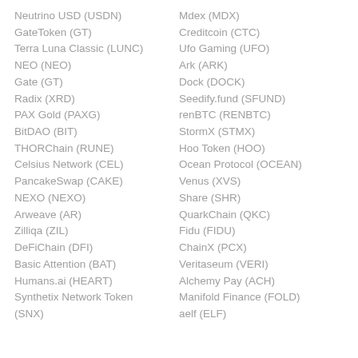Neutrino USD (USDN)
GateToken (GT)
Terra Luna Classic (LUNC)
NEO (NEO)
Gate (GT)
Radix (XRD)
PAX Gold (PAXG)
BitDAO (BIT)
THORChain (RUNE)
Celsius Network (CEL)
PancakeSwap (CAKE)
NEXO (NEXO)
Arweave (AR)
Zilliqa (ZIL)
DeFiChain (DFI)
Basic Attention (BAT)
Humans.ai (HEART)
Synthetix Network Token (SNX)
Mdex (MDX)
Creditcoin (CTC)
Ufo Gaming (UFO)
Ark (ARK)
Dock (DOCK)
Seedify.fund (SFUND)
renBTC (RENBTC)
StormX (STMX)
Hoo Token (HOO)
Ocean Protocol (OCEAN)
Venus (XVS)
Share (SHR)
QuarkChain (QKC)
Fidu (FIDU)
ChainX (PCX)
Veritaseum (VERI)
Alchemy Pay (ACH)
Manifold Finance (FOLD)
aelf (ELF)